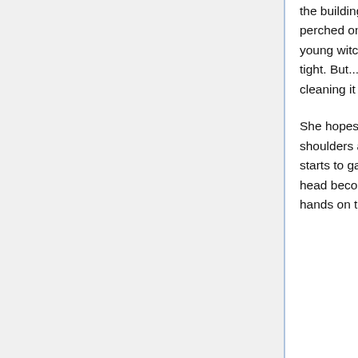the building, soaring up higher, clearly the worse for wear if anyone looks. Tama is perched on the broom now instead of on Yumi's shoulder, and the fatigue in the young witch's movements is clear. Her muscles ache; breathing is hard, her chest tight. But... "If I helped make this, then..." She wheezes, "I won't... give up on cleaning it up!" Raising her voice Yumi calls down, "Mikoto! Be careful!"
She hopes Grandpa Hino is okay down there. With that hope she straightens her shoulders and holds her staff up, still holding in the middle, towards the sky. Light starts to gather, slowly at first and then much more quickly, the crystal at the staff's head becoming a beacon of brilliant green. Still gathering power, she puts both hands on the implement, careful on her broom, and begins to